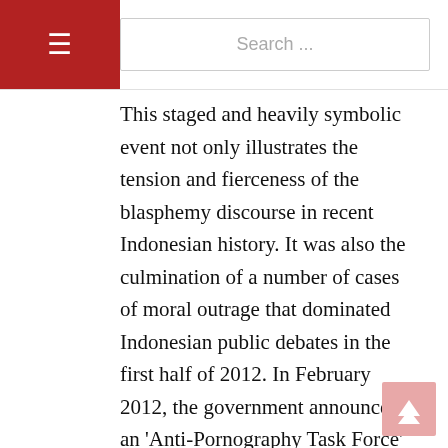≡  Search ...
This staged and heavily symbolic event not only illustrates the tension and fierceness of the blasphemy discourse in recent Indonesian history. It was also the culmination of a number of cases of moral outrage that dominated Indonesian public debates in the first half of 2012. In February 2012, the government announced an 'Anti-Pornography Task Force' to ensure enforcement of the controversial 2008 anti-pornography law. A few weeks later, the Minister of Religious Affairs, Suryadharma Ali, declared miniskirts to be pornographic. In May, a book launch by the Canadian Muslim writer Irshad Manji was cancelled when police were unable to control a crowd protesting against the event in the name of Islam.